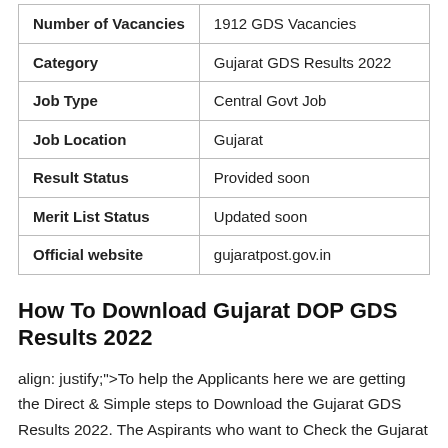| Number of Vacancies | 1912 GDS Vacancies |
| Category | Gujarat GDS Results 2022 |
| Job Type | Central Govt Job |
| Job Location | Gujarat |
| Result Status | Provided soon |
| Merit List Status | Updated soon |
| Official website | gujaratpost.gov.in |
How To Download Gujarat DOP GDS Results 2022
align: justify;">To help the Applicants here we are getting the Direct & Simple steps to Download the Gujarat GDS Results 2022. The Aspirants who want to Check the Gujarat Department of Posts GDS Merit List PDF can refer to the below provided easy & simple steps.